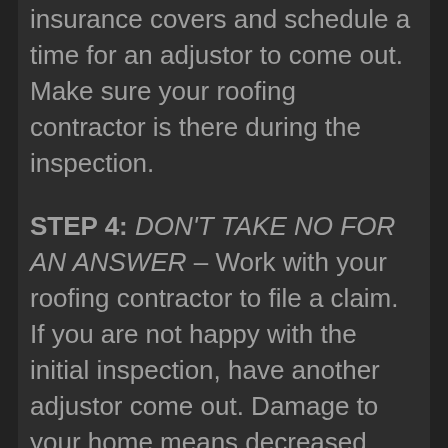insurance covers and schedule a time for an adjustor to come out. Make sure your roofing contractor is there during the inspection.
STEP 4: DON'T TAKE NO FOR AN ANSWER – Work with your roofing contractor to file a claim. If you are not happy with the initial inspection, have another adjustor come out. Damage to your home means decreased value!
STEP 5: GET YOUR ROOF FIXED!